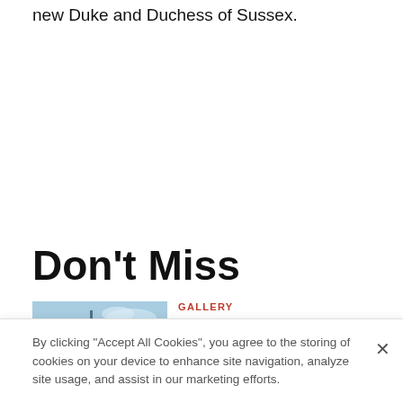new Duke and Duchess of Sussex.
Don't Miss
GALLERY
Hurricanes and Spitfires set for Duxford
[Figure (photo): Outdoor scene with sky and tall structure, likely an aircraft or tower against a blue sky]
By clicking "Accept All Cookies", you agree to the storing of cookies on your device to enhance site navigation, analyze site usage, and assist in our marketing efforts.